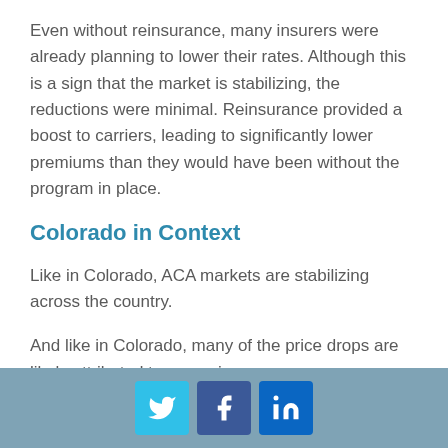Even without reinsurance, many insurers were already planning to lower their rates. Although this is a sign that the market is stabilizing, the reductions were minimal. Reinsurance provided a boost to carriers, leading to significantly lower premiums than they would have been without the program in place.
Colorado in Context
Like in Colorado, ACA markets are stabilizing across the country.
And like in Colorado, many of the price drops are likely attributed to new reinsurance programs.
[Figure (infographic): Social media icons footer bar: Twitter (light blue), Facebook (dark blue), LinkedIn (dark blue)]